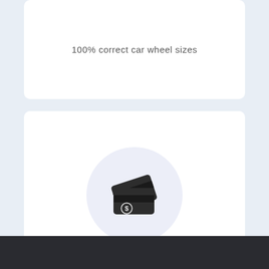100% correct car wheel sizes
[Figure (illustration): Credit/payment card icon inside a light purple/lavender circle, showing stacked cards with a dollar sign, dark color.]
FREE SERVICE
Totally free service